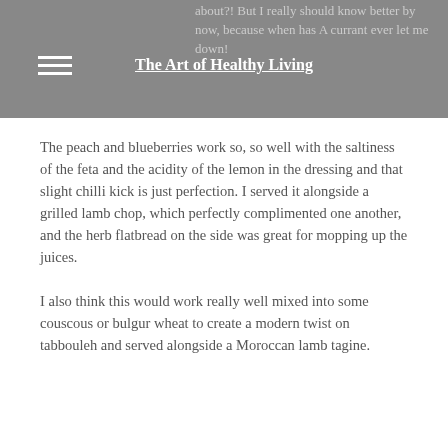about?! But I really should know better by now, because when has A currant ever let me down!
The Art of Healthy Living
The peach and blueberries work so, so well with the saltiness of the feta and the acidity of the lemon in the dressing and that slight chilli kick is just perfection. I served it alongside a grilled lamb chop, which perfectly complimented one another, and the herb flatbread on the side was great for mopping up the juices.
I also think this would work really well mixed into some couscous or bulgur wheat to create a modern twist on tabbouleh and served alongside a Moroccan lamb tagine.